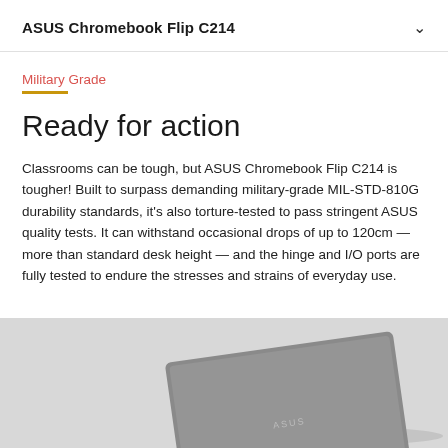ASUS Chromebook Flip C214
Military Grade
Ready for action
Classrooms can be tough, but ASUS Chromebook Flip C214 is tougher! Built to surpass demanding military-grade MIL-STD-810G durability standards, it's also torture-tested to pass stringent ASUS quality tests. It can withstand occasional drops of up to 120cm — more than standard desk height — and the hinge and I/O ports are fully tested to endure the stresses and strains of everyday use.
[Figure (photo): ASUS Chromebook Flip C214 laptop shown folded flat in tablet mode from a top-down angle on a grey background]